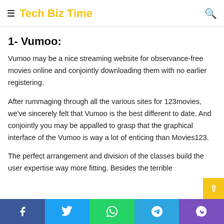Tech Biz Time
1- Vumoo:
Vumoo may be a nice streaming website for observance-free movies online and conjointly downloading them with no earlier registering.
After rummaging through all the various sites for 123movies, we've sincerely felt that Vumoo is the best different to date. And conjointly you may be appalled to grasp that the graphical interface of the Vumoo is way a lot of enticing than Movies123.
The perfect arrangement and division of the classes build the user expertise way more fitting. Besides the terrible
Facebook Twitter WhatsApp Telegram Viber